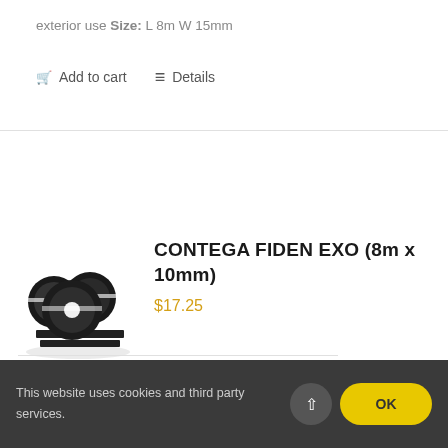exterior use Size: L 8m W 15mm
Add to cart   Details
[Figure (photo): Rolls of black foam sealing tape (CONTEGA FIDEN EXO) stacked together showing multiple widths]
CONTEGA FIDEN EXO (8m x 10mm)
$17.25
This website uses cookies and third party services.